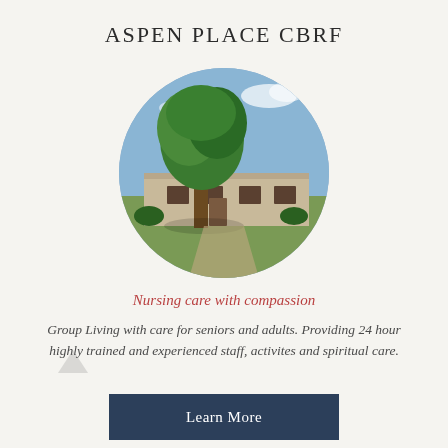ASPEN PLACE CBRF
[Figure (photo): Circular cropped photo of a single-story brick building with a large green tree in the foreground under a blue sky — the Aspen Place CBRF facility exterior.]
Nursing care with compassion
Group Living with care for seniors and adults. Providing 24 hour highly trained and experienced staff, activites and spiritual care.
Learn More